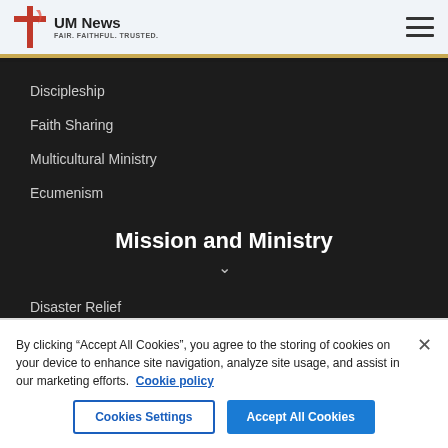UM News — FAIR. FAITHFUL. TRUSTED.
Discipleship
Faith Sharing
Multicultural Ministry
Ecumenism
Mission and Ministry
Disaster Relief
By clicking "Accept All Cookies", you agree to the storing of cookies on your device to enhance site navigation, analyze site usage, and assist in our marketing efforts. Cookie policy
Cookies Settings | Accept All Cookies